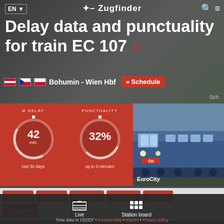EN  ✦-Zugfinder
Delay data and punctuality for train EC 107 ☆
Bohumin - Wien Hbf  » Schedule
Sch
[Figure (infographic): Circular gauge showing Ø DELAY 42 min. last 30 days]
[Figure (infographic): Circular gauge showing PUNCTUALITY 32% up to 5 minutes]
[Figure (photo): EuroCity train locomotive photo]
30 days
60 days
120 days
365 days
2 years
diagram
Today's wagon order and direction of travel in Bohu...
Time data in CE(S)T • Functionality • Imprint • Privacy policy